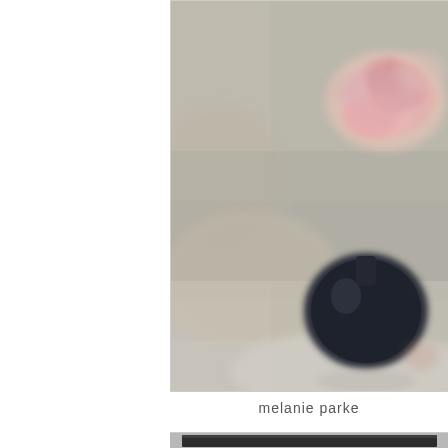[Figure (illustration): A painting showing a dark round vase with pink/peach roses on top, set against a soft muted beige/grey background with impressionistic brushwork. Only the right portion of the painting is visible, starting roughly from the center of the full artwork.]
melanie parke
[Figure (photo): Bottom portion of a framed artwork, showing the dark frame border at the top of the visible area against a silver/grey background.]